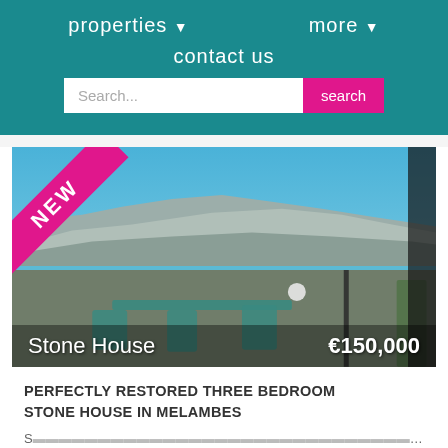properties ▾    more ▾    contact us
[Figure (screenshot): Property photo of a stone house terrace with mountain and blue sky background, with a pink NEW ribbon in the top-left corner, and overlay text showing 'Stone House' and '€150,000']
PERFECTLY RESTORED THREE BEDROOM STONE HOUSE IN MELAMBES
partially visible subtitle text below the title